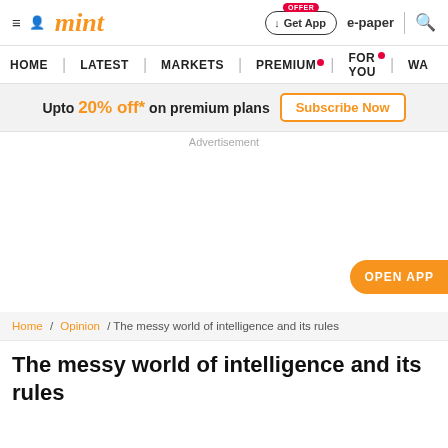mint
HOME | LATEST | MARKETS | PREMIUM | FOR YOU | WA
Upto 20% off* on premium plans Subscribe Now
Advertisement
OPEN APP
Home / Opinion / The messy world of intelligence and its rules
The messy world of intelligence and its rules